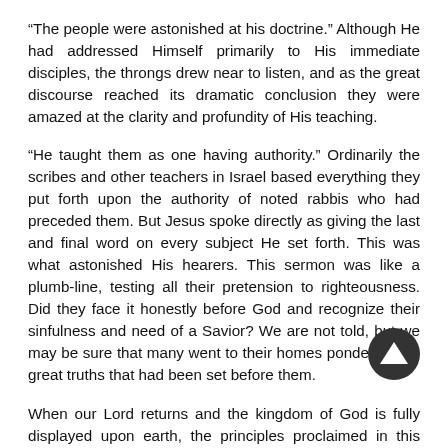“The people were astonished at his doctrine.” Although He had addressed Himself primarily to His immediate disciples, the throngs drew near to listen, and as the great discourse reached its dramatic conclusion they were amazed at the clarity and profundity of His teaching.
“He taught them as one having authority.” Ordinarily the scribes and other teachers in Israel based everything they put forth upon the authority of noted rabbis who had preceded them. But Jesus spoke directly as giving the last and final word on every subject He set forth. This was what astonished His hearers. This sermon was like a plumb-line, testing all their pretension to righteousness. Did they face it honestly before God and recognize their sinfulness and need of a Savior? We are not told, but we may be sure that many went to their homes pondering the great truths that had been set before them.
When our Lord returns and the kingdom of God is fully displayed upon earth, the principles proclaimed in this sermon